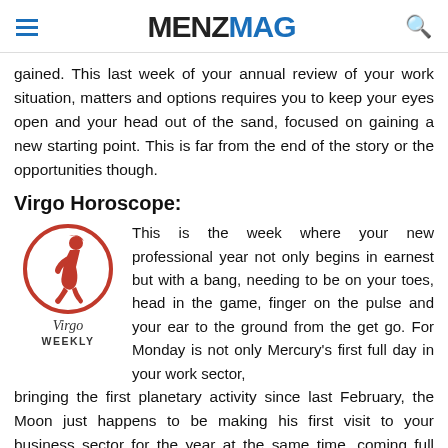MENZMAG
gained. This last week of your annual review of your work situation, matters and options requires you to keep your eyes open and your head out of the sand, focused on gaining a new starting point. This is far from the end of the story or the opportunities though.
Virgo Horoscope:
[Figure (illustration): Virgo zodiac sign logo: a circular red border with a red illustrated figure of a woman sitting, with 'Virgo' in italic text below and 'WEEKLY' in bold caps beneath that.]
This is the week where your new professional year not only begins in earnest but with a bang, needing to be on your toes, head in the game, finger on the pulse and your ear to the ground from the get go. For Monday is not only Mercury's first full day in your work sector, bringing the first planetary activity since last February, the Moon just happens to be making his first visit to your business sector for the year at the same time, coming full circle from last month's Full Moon. With the Moon's professional instincts and Mercury's intellectually savvy edge, you're all of a sudden back in game mode. This is the first planetary activity in either of your professional